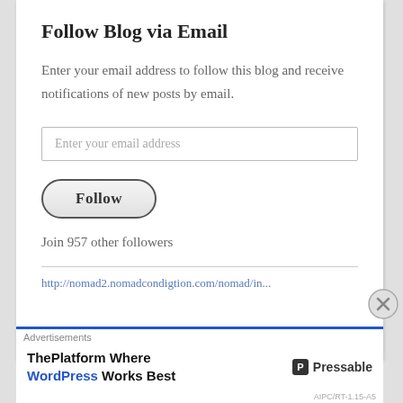Follow Blog via Email
Enter your email address to follow this blog and receive notifications of new posts by email.
Join 957 other followers
http://nomad2.nomadcondigtion.com/nomad/in...
[Figure (screenshot): Advertisements banner: ThePlatform Where WordPress Works Best, with Pressable logo]
Advertisements